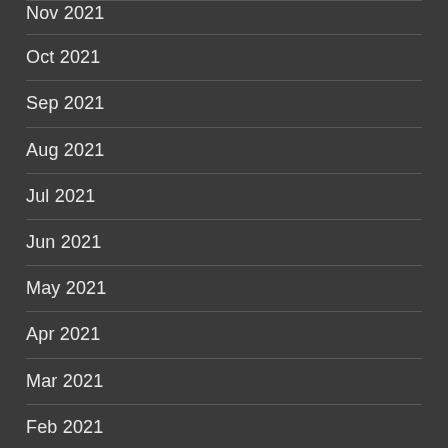Nov 2021
Oct 2021
Sep 2021
Aug 2021
Jul 2021
Jun 2021
May 2021
Apr 2021
Mar 2021
Feb 2021